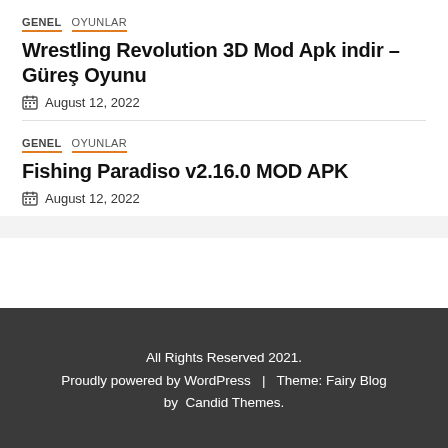GENEL | Oyunlar
Wrestling Revolution 3D Mod Apk indir – Güreş Oyunu
August 12, 2022
GENEL | Oyunlar
Fishing Paradiso v2.16.0 MOD APK
August 12, 2022
All Rights Reserved 2021.
Proudly powered by WordPress  |  Theme: Fairy Blog by  Candid Themes.